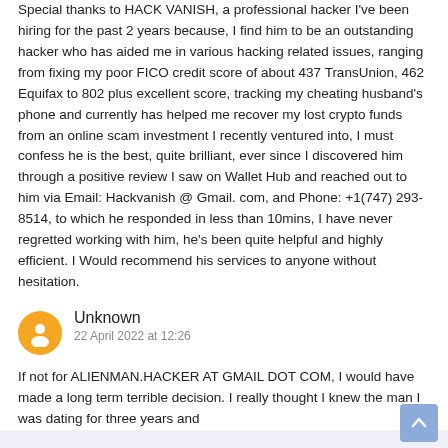Special thanks to HACK VANISH, a professional hacker I've been hiring for the past 2 years because, I find him to be an outstanding hacker who has aided me in various hacking related issues, ranging from fixing my poor FICO credit score of about 437 TransUnion, 462 Equifax to 802 plus excellent score, tracking my cheating husband's phone and currently has helped me recover my lost crypto funds from an online scam investment I recently ventured into, I must confess he is the best, quite brilliant, ever since I discovered him through a positive review I saw on Wallet Hub and reached out to him via Email: Hackvanish @ Gmail. com, and Phone: +1(747) 293-8514, to which he responded in less than 10mins, I have never regretted working with him, he's been quite helpful and highly efficient. I Would recommend his services to anyone without hesitation.
Reply | Delete
Unknown
22 April 2022 at 12:26
If not for ALIENMAN.HACKER AT GMAIL DOT COM, I would have made a long term terrible decision. I really thought I knew the man I was dating for three years and